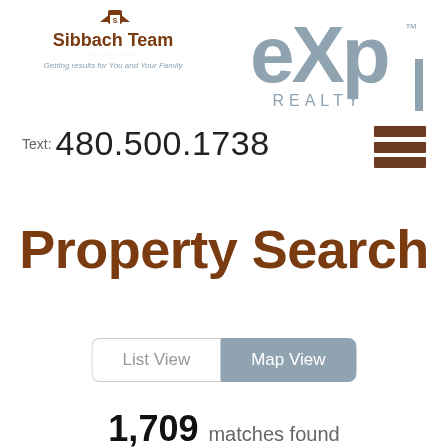[Figure (logo): Sibbach Team logo — house icon above 'Sibbach Team' text in brown/blue, with tagline 'Getting results for You and Your Family']
[Figure (logo): eXp Realty logo — large stylized 'eXp' in gray-blue above 'REALTY' text]
Text: 480.500.1738
[Figure (other): Hamburger menu icon — three horizontal brown bars]
Property Search
[Figure (other): View toggle buttons: 'List View' (white/outlined) and 'Map View' (gray-blue filled, selected)]
1,709 matches found